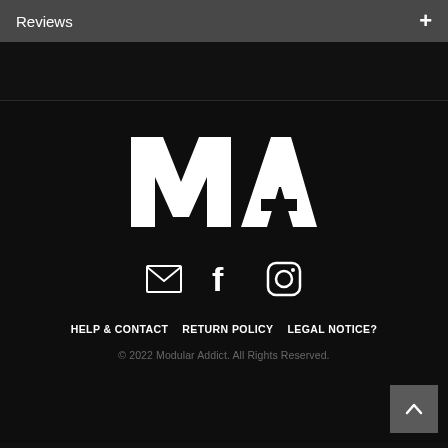Reviews
[Figure (logo): Modular Addict MA logo in white on black background]
[Figure (infographic): Social media icons: email, Facebook, Instagram]
HELP & CONTACT   RETURN POLICY   LEGAL NOTICE?
© 2022 Modular Addict. All Rights Reserved.